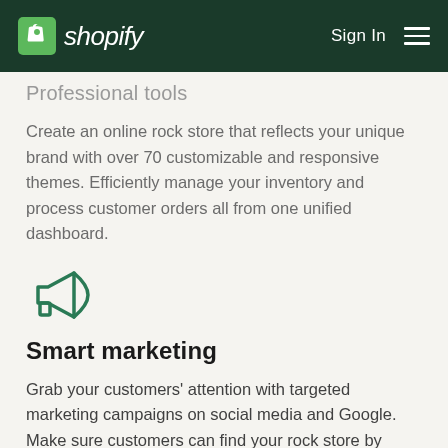Shopify — Sign In
Professional tools
Create an online rock store that reflects your unique brand with over 70 customizable and responsive themes. Efficiently manage your inventory and process customer orders all from one unified dashboard.
[Figure (illustration): Megaphone / bullhorn icon in green outline style]
Smart marketing
Grab your customers' attention with targeted marketing campaigns on social media and Google. Make sure customers can find your rock store by using Shopify's built-in SEO tools and